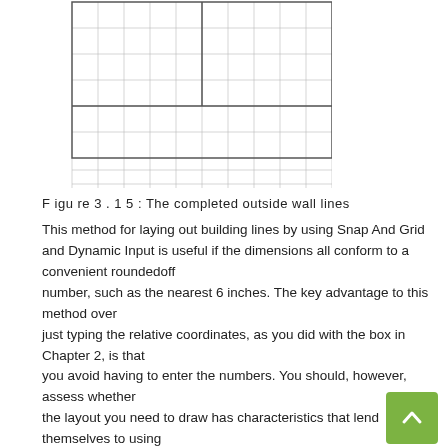[Figure (other): A grid diagram showing completed outside wall lines — a rectangular grid with multiple rows and columns of cells, rendered in light gray lines on white background, with a thicker outer border and some thicker internal lines creating a floor plan outline.]
F igu re 3 . 1 5 : The completed outside wall lines
This method for laying out building lines by using Snap And Grid and Dynamic Input is useful if the dimensions all conform to a convenient roundedoff number, such as the nearest 6 inches. The key advantage to this method over just typing the relative coordinates, as you did with the box in Chapter 2, is that you avoid having to enter the numbers. You should, however, assess whether the layout you need to draw has characteristics that lend themselves to using Snap And Grid and Dynamic Input or whether typing the relative coordinates